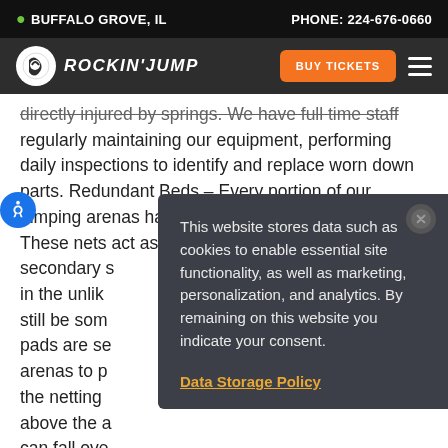BUFFALO GROVE, IL   PHONE: 224-676-0660
[Figure (logo): Rockin' Jump logo with navigation bar including BUY TICKETS button and hamburger menu]
directly injured by springs. We have full time staff regularly maintaining our equipment, performing daily inspections to identify and replace worn down parts. Redundant Beds – Every portion of our jumping arenas have had redundant nets installed. These nets act as a secondary s… in the unlik… still be som… pads are se… arenas to p… the netting a… above the a… can fall ove… high jump. S… running safety video near the check-in area at our
[Figure (screenshot): Cookie consent popup overlay: 'This website stores data such as cookies to enable essential site functionality, as well as marketing, personalization, and analytics. By remaining on this website you indicate your consent.' with a Data Storage Policy link in orange/gold]